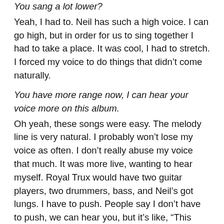You sang a lot lower?
Yeah, I had to. Neil has such a high voice. I can go high, but in order for us to sing together I had to take a place. It was cool, I had to stretch. I forced my voice to do things that didn't come naturally.
You have more range now, I can hear your voice more on this album.
Oh yeah, these songs were easy. The melody line is very natural. I probably won't lose my voice as often. I don't really abuse my voice that much. It was more live, wanting to hear myself. Royal Trux would have two guitar players, two drummers, bass, and Neil's got lungs. I have to push. People say I don't have to push, we can hear you, but it's like, "This isn't about you out there, it's about me having fun, so shut up." That can get rough on your voice. But that was rare. People tell me to stop smoking but I love